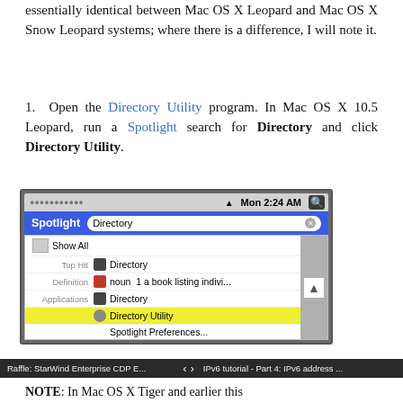essentially identical between Mac OS X Leopard and Mac OS X Snow Leopard systems; where there is a difference, I will note it.
1. Open the Directory Utility program. In Mac OS X 10.5 Leopard, run a Spotlight search for Directory and click Directory Utility.
[Figure (screenshot): Mac OS X Spotlight search showing 'Directory' typed in the search field. Results show: Show All, Top Hit: Directory, Definition: noun 1 a book listing indivi..., Applications: Directory, Directory Utility (highlighted in yellow), Spotlight Preferences...]
Raffle: StarWind Enterprise CDP E...    < >    IPv6 tutorial - Part 4: IPv6 address ...
NOTE: In Mac OS X Tiger and earlier this